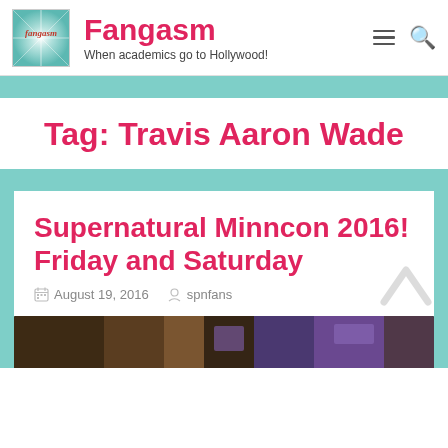Fangasm — When academics go to Hollywood!
Tag: Travis Aaron Wade
Supernatural Minncon 2016! Friday and Saturday
August 19, 2016   spnfans
[Figure (photo): Bottom portion of a blog post image showing a dark indoor venue with purple lighting]